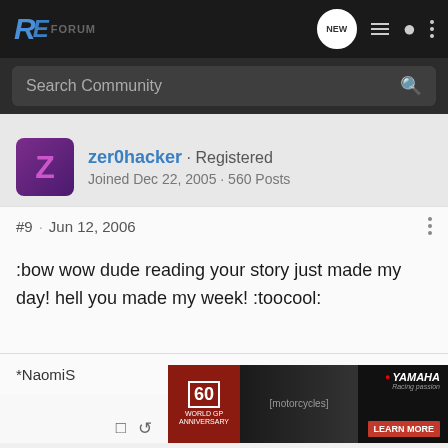RE Forum - Navigation bar with Search Community
zer0hacker · Registered
Joined Dec 22, 2005 · 560 Posts
#9 · Jun 12, 2006
:bow wow dude reading your story just made my day! hell you made my week! :toocool:
*NaomiS
[Figure (photo): Yamaha 60th World GP Anniversary advertisement banner showing motorcycles]